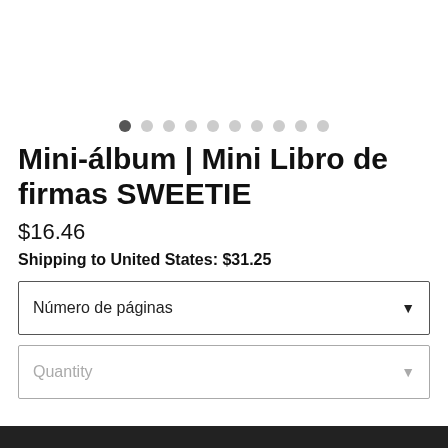[Figure (other): Carousel dot navigation indicator showing 10 dots, first dot is dark/active, rest are light gray]
Mini-álbum | Mini Libro de firmas SWEETIE
$16.46
Shipping to United States: $31.25
Número de páginas
Quantity